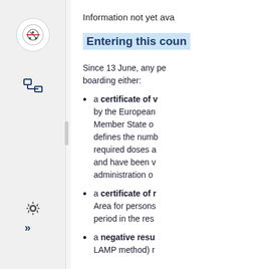Information not yet ava
Entering this coun
Since 13 June, any pe boarding either:
a certificate of v by the European Member State o defines the numb required doses a and have been v administration o
a certificate of r Area for persons period in the res
a negative resu LAMP method) r